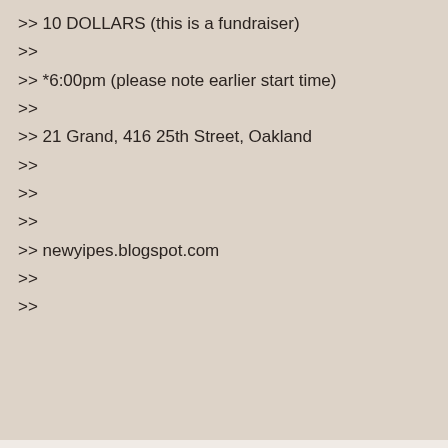>> 10 DOLLARS (this is a fundraiser)
>>
>> *6:00pm (please note earlier start time)
>>
>> 21 Grand, 416 25th Street, Oakland
>>
>>
>>
>> newyipes.blogspot.com
>>
>>